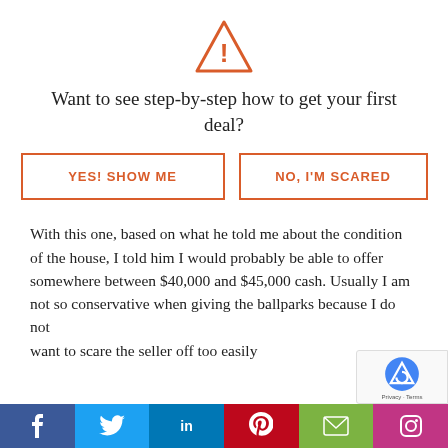[Figure (illustration): Orange warning triangle icon with exclamation mark]
Want to see step-by-step how to get your first deal?
[Figure (other): Two buttons: YES! SHOW ME and NO, I'M SCARED with orange borders]
With this one, based on what he told me about the condition of the house, I told him I would probably be able to offer somewhere between $40,000 and $45,000 cash. Usually I am not so conservative when giving the ballparks because I d… want to scare the seller off too easily
[Figure (other): Social sharing bar with Facebook, Twitter, LinkedIn, Pinterest, Email, Instagram buttons]